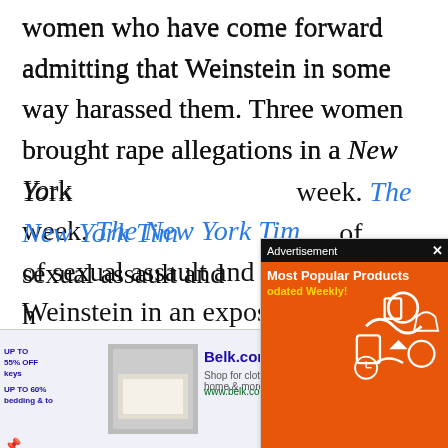women who have come forward admitting that Weinstein in some way harassed them. Three women brought rape allegations in a New Yo[rk Times last] week. The New York Tim[es reported] of sexual assault and h[arassment by] Weinstein in an exposé[...] producer settled out of court cases with at least eight women in the past thirty years.
[Figure (screenshot): Advertisement overlay popup with black header reading 'Advertisement' and an X close button. Orange background with white text 'Most Popular Products' and yellow text 'Updated Weekly!' with shopping icons.]
[Figure (screenshot): Bottom banner advertisement for Belk.com showing 'Belk® - Official Site' with description 'Shop for clothing, handbags, jewelry, beauty, home & more!' and URL www.belk.com. Includes product thumbnail image, left sidebar tags, close button, and blue circular arrow navigation button.]